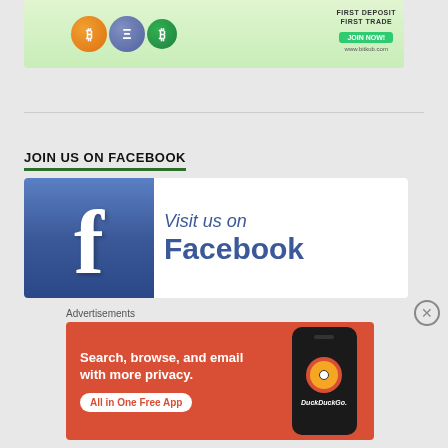[Figure (illustration): Bitkub cryptocurrency exchange advertisement banner with cartoon coin characters and 'FIRST DEPOSIT FIRST TRADE JOIN NOW!' text and www.bitkub.com URL]
JOIN US ON FACEBOOK
[Figure (illustration): Facebook 'Visit us on Facebook' banner with blue Facebook 'f' logo icon on left and handwritten-style text on right]
Advertisements
[Figure (illustration): DuckDuckGo advertisement: orange/red background with text 'Search, browse, and email with more privacy. All in One Free App' and phone mockup with DuckDuckGo logo]